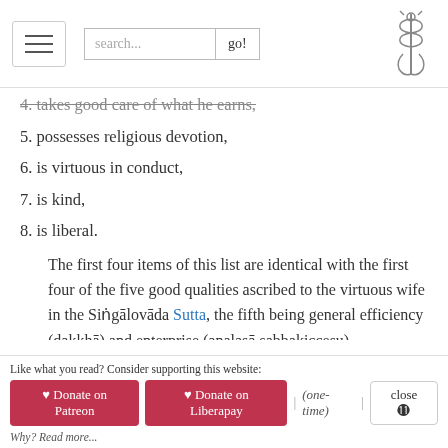navigation header with hamburger menu, search bar, and caduceus logo
4. takes good care of what he earns,
5. possesses religious devotion,
6. is virtuous in conduct,
7. is kind,
8. is liberal.
The first four items of this list are identical with the first four of the five good qualities ascribed to the virtuous wife in the Siṅgālovāda Sutta, the fifth being general efficiency (dakkhā) and enterprise (analasā sabbakiccesu)
- D. III. p.190.
It was also held in Indian belief that woman was intellectually inferior to man and therefore had no capacity to reach higher spiritual attainments. This idea clearly echoes in the Samyutta
Like what you read? Consider supporting this website: ♥ Donate on Patreon  ♥ Donate on Liberapay  | (one-time) |  close ✕  Why? Read more...